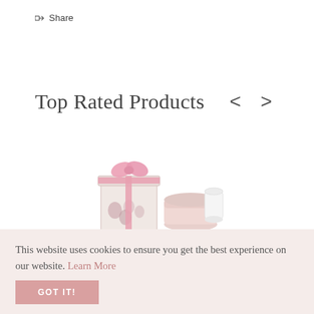Share
Top Rated Products
[Figure (photo): A gift box product with pink ribbon and a pink cosmetic jar with lid, displayed as a top-rated product.]
This website uses cookies to ensure you get the best experience on our website. Learn More
GOT IT!